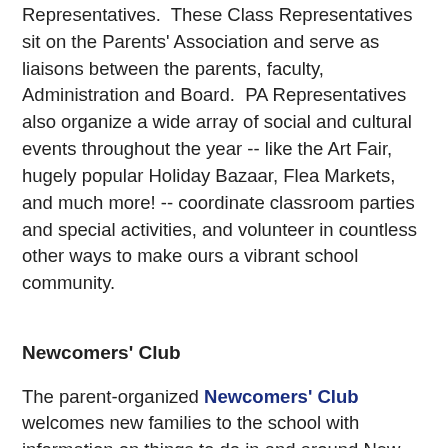Representatives.  These Class Representatives sit on the Parents' Association and serve as liaisons between the parents, faculty, Administration and Board.  PA Representatives also organize a wide array of social and cultural events throughout the year -- like the Art Fair, hugely popular Holiday Bazaar, Flea Markets, and much more! -- coordinate classroom parties and special activities, and volunteer in countless other ways to make ours a vibrant school community.
Newcomers' Club
The parent-organized Newcomers' Club welcomes new families to the school with information on things to do in and around New York City and organizes regular get-togethers and site-seeing excursions.
Swiss Parents' Association